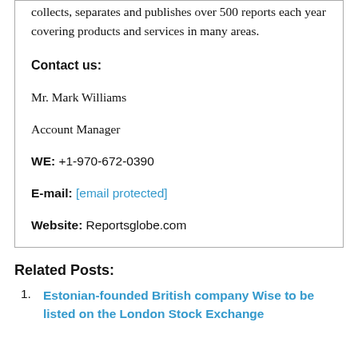collects, separates and publishes over 500 reports each year covering products and services in many areas.
Contact us:
Mr. Mark Williams
Account Manager
WE: +1-970-672-0390
E-mail: [email protected]
Website: Reportsglobe.com
Related Posts:
Estonian-founded British company Wise to be listed on the London Stock Exchange